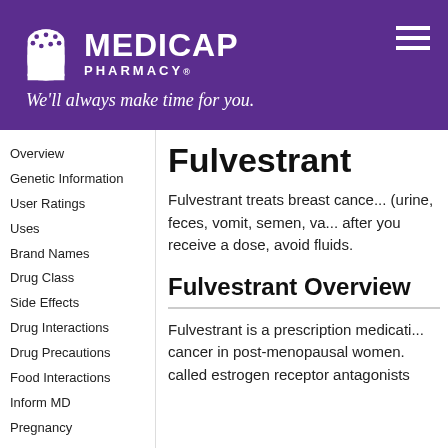[Figure (logo): Medicap Pharmacy logo with pill icon, white text on purple background, tagline 'We'll always make time for you.']
Overview
Genetic Information
User Ratings
Uses
Brand Names
Drug Class
Side Effects
Drug Interactions
Drug Precautions
Food Interactions
Inform MD
Pregnancy
Lactation
Fulvestrant
Fulvestrant treats breast cance... (urine, feces, vomit, semen, va... after you receive a dose, avoid fluids.
Fulvestrant Overview
Fulvestrant is a prescription medicati... cancer in post-menopausal women. called estrogen receptor antagonists